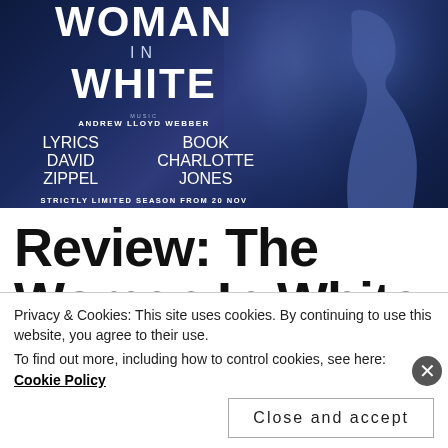[Figure (illustration): Promotional poster for 'The Woman In White' musical. Dark navy/blue background with silhouette of a woman on the right. White text displays: THE WOMAN IN WHITE. Music: Andrew Lloyd Webber. Lyrics: David Zippel. Book: Charlotte Jones. Strictly Limited Season From 20 Nov. thewomaninwhite.co.uk. Charing Cross Theatre.]
Review: The Woman In White
Privacy & Cookies: This site uses cookies. By continuing to use this website, you agree to their use. To find out more, including how to control cookies, see here: Cookie Policy
Close and accept